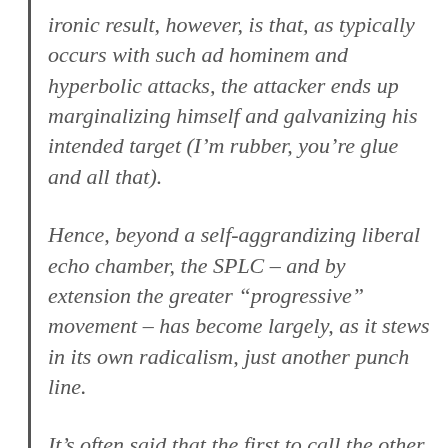ironic result, however, is that, as typically occurs with such ad hominem and hyperbolic attacks, the attacker ends up marginalizing himself and galvanizing his intended target (I'm rubber, you're glue and all that).
Hence, beyond a self-aggrandizing liberal echo chamber, the SPLC – and by extension the greater "progressive" movement – has become largely, as it stews in its own radicalism, just another punch line.
It's often said that the first to call the other a Nazi has lost the argument.